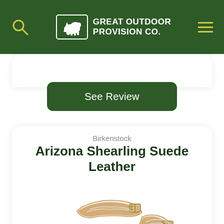Great Outdoor Provision Co.
See Review
Birkenstock
Arizona Shearling Suede Leather
[Figure (photo): Birkenstock Arizona Shearling Suede Leather sandal in tan/cognac suede with white shearling lining and two buckle straps, shown from a 3/4 angle on white background]